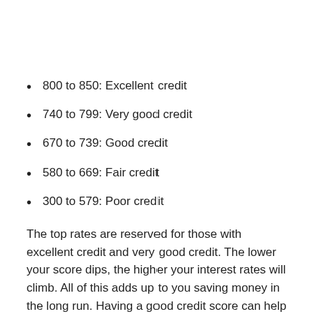800 to 850: Excellent credit
740 to 799: Very good credit
670 to 739: Good credit
580 to 669: Fair credit
300 to 579: Poor credit
The top rates are reserved for those with excellent credit and very good credit. The lower your score dips, the higher your interest rates will climb. All of this adds up to you saving money in the long run. Having a good credit score can help you secure a low car loan APR when you